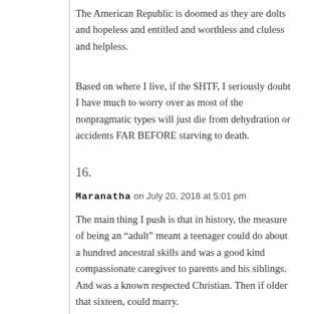The American Republic is doomed as they are dolts and hopeless and entitled and worthless and cluless and helpless.
Based on where I live, if the SHTF, I seriously doubt I have much to worry over as most of the nonpragmatic types will just die from dehydration or accidents FAR BEFORE starving to death.
16.
Maranatha on July 20, 2018 at 5:01 pm
The main thing I push is that in history, the measure of being an “adult” meant a teenager could do about a hundred ancestral skills and was a good kind compassionate caregiver to parents and his siblings. And was a known respected Christian. Then if older that sixteen, could marry.